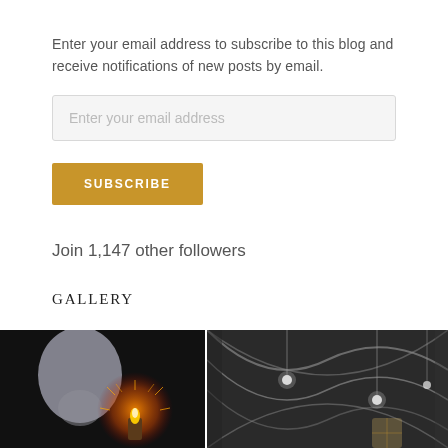Enter your email address to subscribe to this blog and receive notifications of new posts by email.
Enter your email address
SUBSCRIBE
Join 1,147 other followers
GALLERY
[Figure (photo): Dark photo showing a skull silhouette and a glowing candle with ornate decoration on a dark background]
[Figure (photo): Black and white photo of cathedral interior vaulted ceiling with hanging lights]